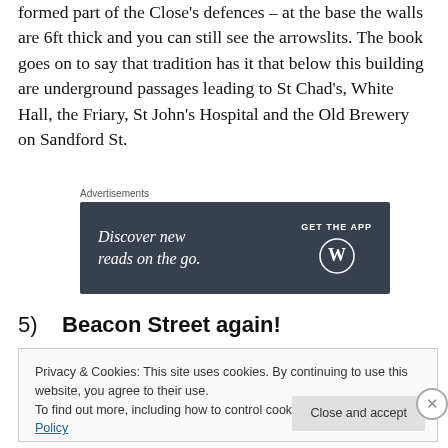formed part of the Close's defences – at the base the walls are 6ft thick and you can still see the arrowslits. The book goes on to say that tradition has it that below this building are underground passages leading to St Chad's, White Hall, the Friary, St John's Hospital and the Old Brewery on Sandford St.
[Figure (other): Advertisement banner: dark grey background with italic text 'Discover new reads on the go.' and 'GET THE APP' with WordPress logo]
5)    Beacon Street again!
Privacy & Cookies: This site uses cookies. By continuing to use this website, you agree to their use.
To find out more, including how to control cookies, see here: Cookie Policy